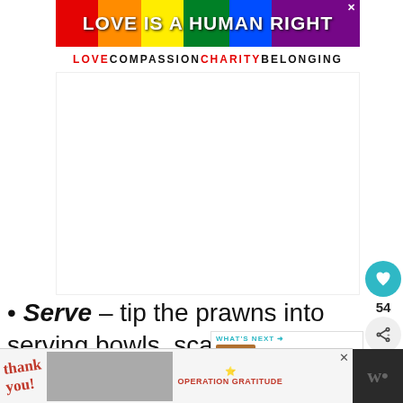[Figure (screenshot): Screenshot of a webpage showing: (1) A top banner advertisement with rainbow gradient background reading 'LOVE IS A HUMAN RIGHT' with subtitle 'LOVE COMPASSION CHARITY BELONGING'; (2) A large blank white space (advertisement area); (3) A heart/like button with value 54 and a share button on the right side; (4) A bullet list item beginning with bold italic 'Serve' – tip the prawns into serving bowls, scatter over the chopped parsley and have the lemon wedges; (5) A 'WHAT'S NEXT' panel showing 'Sausage Bap with Boozy...' with a food image; (6) A bottom advertisement banner for Operation Gratitude with a 'thank you' script and military imagery.]